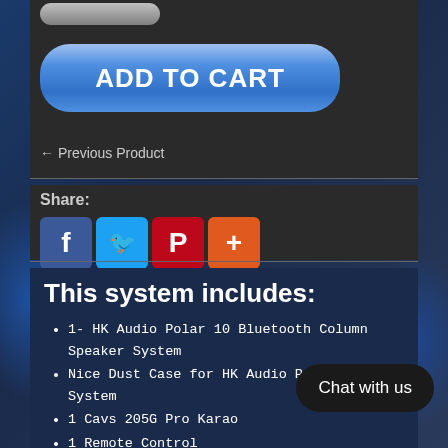[Figure (screenshot): Add to Cart button with blue gradient and rounded corners]
← Previous Product
Share:
[Figure (infographic): Social share icons: Facebook (blue f), Twitter (blue bird), Pinterest (red P), Plus (orange +)]
This system includes:
1- HK Audio Polar 10 Bluetooth Column Speaker System
Nice Dust Case for HK Audio Polar 10 System
1 Cavs 205G Pro Kara...
1 Remote Control
1 Dual Wireless Pro Mics UHF